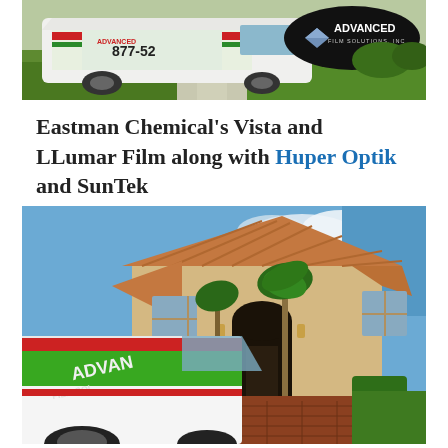[Figure (photo): Advanced Film Solutions Inc. branded van parked on a driveway in front of a home with green lawn, with the company logo (diamond shape) and name visible on the van and a dark oval logo overlay in the upper right of the image.]
Eastman Chemical's Vista and LLumar Film along with Huper Optik and SunTek
[Figure (photo): Advanced Film Solutions Inc. branded white van with green and red graphics parked in front of a large Florida-style home with terracotta roof, palm trees, and brick driveway under a blue sky.]